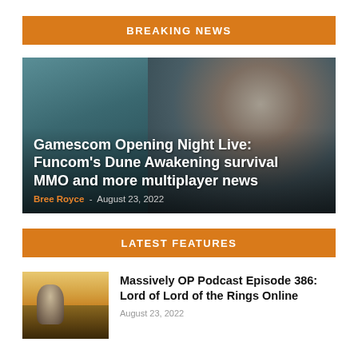BREAKING NEWS
[Figure (photo): Hero image with close-up of a person's face against a teal/grey background, with headline text overlay]
Gamescom Opening Night Live: Funcom's Dune Awakening survival MMO and more multiplayer news
Bree Royce · August 23, 2022
LATEST FEATURES
[Figure (photo): Thumbnail image of a small robot-like figure standing in a golden sunset field]
Massively OP Podcast Episode 386: Lord of Lord of the Rings Online
August 23, 2022